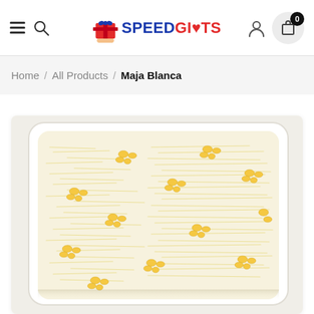SpeedGifts — navigation header with hamburger menu, search, logo, user icon, cart (0)
Home / All Products / Maja Blanca
[Figure (photo): A rectangular white tray of Maja Blanca Filipino coconut pudding dessert, topped with grated cheese and sweet corn kernels, photographed from above at an angle.]